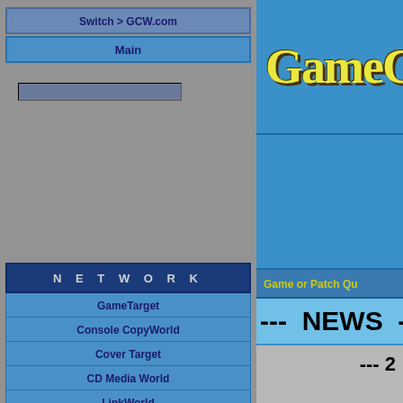Switch > GCW.com
Main
[Figure (screenshot): GCW.com website logo showing GameCo text in yellow on blue background]
Game or Patch Qu
NETWORK
GameTarget
Console CopyWorld
Cover Target
CD Media World
LinkWorld
Music Target
CD/DVD Utilities
[Figure (logo): LinkWorld Games banner logo with blue background and yellow GAMES text]
--- NEWS --- N
--- 2
Fo
J